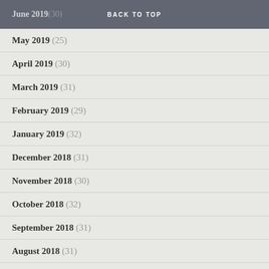June 2019 (30) BACK TO TOP
May 2019 (25)
April 2019 (30)
March 2019 (31)
February 2019 (29)
January 2019 (32)
December 2018 (31)
November 2018 (30)
October 2018 (32)
September 2018 (31)
August 2018 (31)
July 2018 (30)
June 2018 (30)